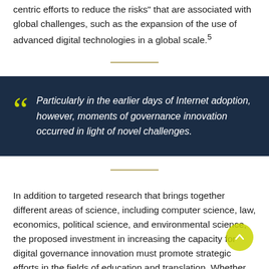centric efforts to reduce the risks" that are associated with global challenges, such as the expansion of the use of advanced digital technologies in a global scale.⁵
Particularly in the earlier days of Internet adoption, however, moments of governance innovation occurred in light of novel challenges.
In addition to targeted research that brings together different areas of science, including computer science, law, economics, political science, and environmental science, the proposed investment in increasing the capacity for digital governance innovation must promote strategic efforts in the fields of education and translation. Whether innovative governance thinking will